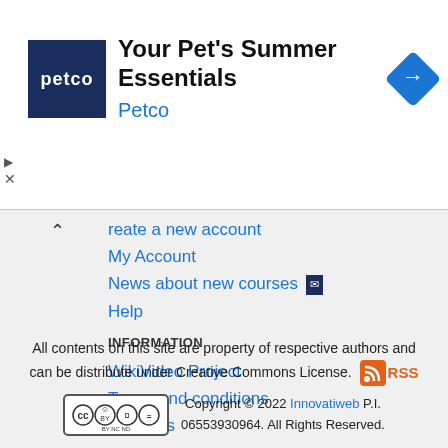[Figure (screenshot): Petco advertisement banner: dark blue square logo with 'petco' in white text, heading 'Your Pet's Summer Essentials', subheading 'Petco' in blue, blue navigation diamond icon on right, ad controls (triangle play and X) on left]
reate a new account
My Account
News about new courses [mail icon]
Help
INFORMATION
WikiVideo Project
Terms and conditions
Contacts
All contents on this site are property of respective authors and can be distribute under Creative Commons License. RSS Copyright © 2022 Innovatiweb P.I. 06553930964. All Rights Reserved.
Copyright © 2022 Innovatiweb P.I. 06553930964. All Rights Reserved.